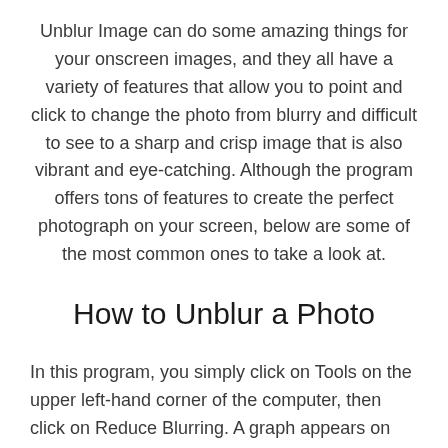Unblur Image can do some amazing things for your onscreen images, and they all have a variety of features that allow you to point and click to change the photo from blurry and difficult to see to a sharp and crisp image that is also vibrant and eye-catching. Although the program offers tons of features to create the perfect photograph on your screen, below are some of the most common ones to take a look at.
How to Unblur a Photo
In this program, you simply click on Tools on the upper left-hand corner of the computer, then click on Reduce Blurring. A graph appears on the right-hand side of